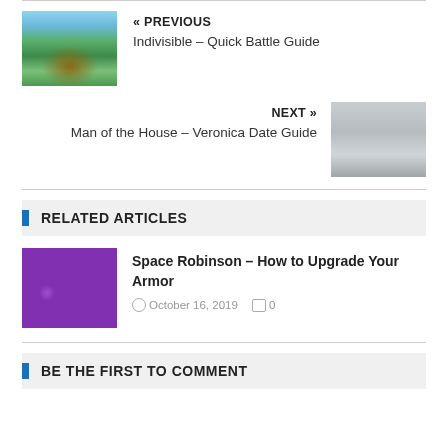« PREVIOUS
Indivisible – Quick Battle Guide
[Figure (photo): Game screenshot from Indivisible showing animated character in green field]
[Figure (photo): Screenshot from Man of the House – Veronica Date Guide showing indoor scene]
NEXT »
Man of the House – Veronica Date Guide
RELATED ARTICLES
[Figure (screenshot): Space Robinson game screenshot showing top-down map view with colorful tiles]
Space Robinson – How to Upgrade Your Armor
October 16, 2019   0
BE THE FIRST TO COMMENT